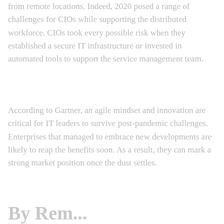from remote locations. Indeed, 2020 posed a range of challenges for CIOs while supporting the distributed workforce. CIOs took every possible risk when they established a secure IT infrastructure or invested in automated tools to support the service management team.
According to Gartner, an agile mindset and innovation are critical for IT leaders to survive post-pandemic challenges. Enterprises that managed to embrace new developments are likely to reap the benefits soon. As a result, they can mark a strong market position once the dust settles.
By Rem...